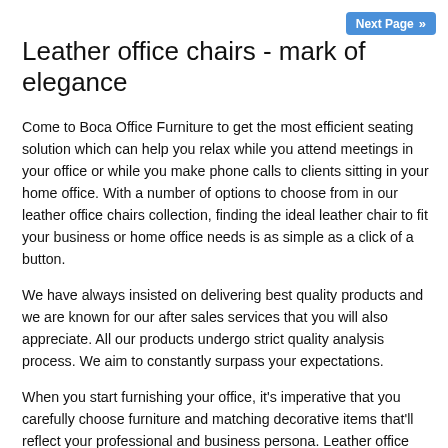[Figure (other): Next Page button with double arrow chevron, blue background]
Leather office chairs - mark of elegance
Come to Boca Office Furniture to get the most efficient seating solution which can help you relax while you attend meetings in your office or while you make phone calls to clients sitting in your home office. With a number of options to choose from in our leather office chairs collection, finding the ideal leather chair to fit your business or home office needs is as simple as a click of a button.
We have always insisted on delivering best quality products and we are known for our after sales services that you will also appreciate. All our products undergo strict quality analysis process. We aim to constantly surpass your expectations.
When you start furnishing your office, it's imperative that you carefully choose furniture and matching decorative items that'll reflect your professional and business persona. Leather office chairs are not just comfortable but they also look extraordinary in a professional setting. Investing in high quality executive office chairs from Boca Office Furniture can provide a comfortable seating solution for work and at the same time